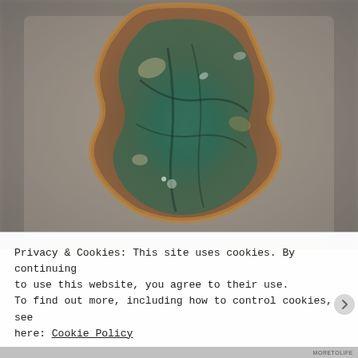[Figure (photo): Close-up photograph of a ceramic or glazed pottery piece with irregular wavy edges, featuring a teal/green and bronze/copper lustrous glaze with swirling patterns, set against a neutral gray-beige background.]
Privacy & Cookies: This site uses cookies. By continuing to use this website, you agree to their use. To find out more, including how to control cookies, see here: Cookie Policy
Close and accept